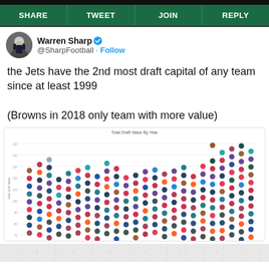SHARE | TWEET | JOIN | REPLY
Warren Sharp @SharpFootball · Follow
the Jets have the 2nd most draft capital of any team since at least 1999

(Browns in 2018 only team with more value)
[Figure (scatter-plot): Scatter plot showing total draft value by year for all NFL teams from approximately 1999 onward, with team logos as data points. Browns 2018 and Jets visible at top.]